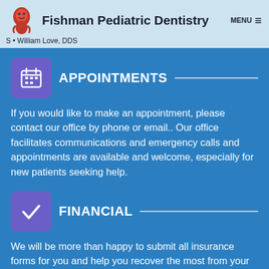Fishman Pediatric Dentistry MENU | S • William Love, DDS
APPOINTMENTS
If you would like to make an appointment, please contact our office by phone or email.. Our office facilitates communications and emergency calls and appointments are available and welcome, especially for new patients seeking help.
FINANCIAL
We will be more than happy to submit all insurance forms for you and help you recover the most from your benefits. We will do everything we can to help you afford the treatment